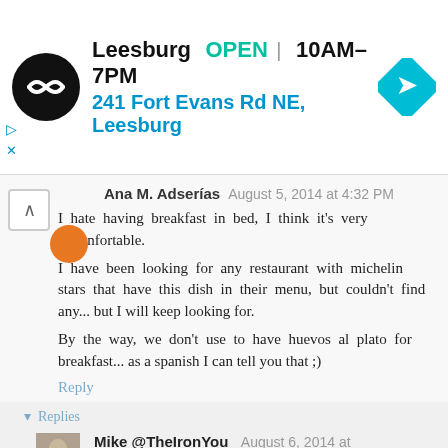[Figure (screenshot): Advertisement banner for a store in Leesburg showing logo, open status, hours, address, and navigation arrow icon]
Ana M. Adserías  August 5, 2014 at 4:32 PM

I hate having breakfast in bed, I think it's very unconfortable.
I have been looking for any restaurant with michelin stars that have this dish in their menu, but couldn't find any... but I will keep looking for.
By the way, we don't use to have huevos al plato for breakfast... as a spanish I can tell you that ;)

Reply

▾ Replies
Mike @TheIronYou  August 6, 2014 at 6:15 PM